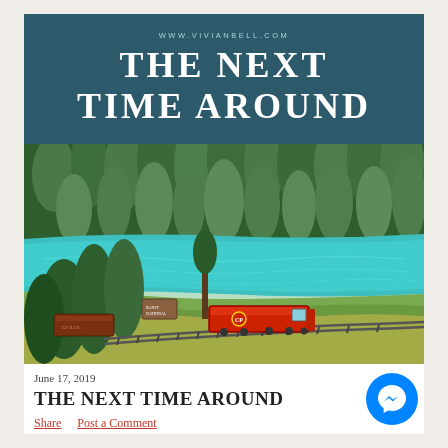WWW.VIVIANBELL.COM
THE NEXT TIME AROUND
[Figure (photo): Aerial or elevated view of a turquoise glacial river with dense evergreen forest on the far bank, and a red CP Rail locomotive with freight cars rounding a curve on tracks beside the river bank.]
June 17, 2019
THE NEXT TIME AROUND
Share    Post a Comment